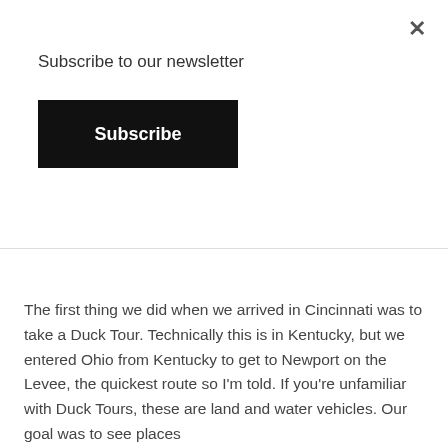Subscribe to our newsletter
Subscribe
The first thing we did when we arrived in Cincinnati was to take a Duck Tour. Technically this is in Kentucky, but we entered Ohio from Kentucky to get to Newport on the Levee, the quickest route so I'm told. If you're unfamiliar with Duck Tours, these are land and water vehicles. Our goal was to see places